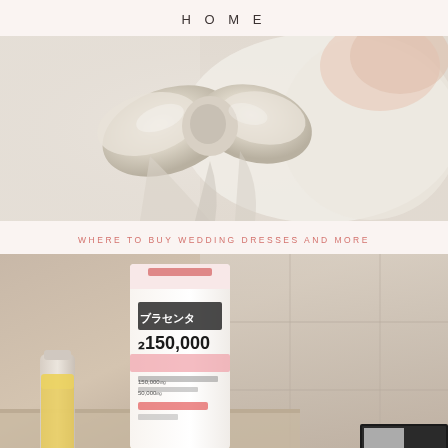HOME
[Figure (photo): Close-up of a white/cream satin wedding dress with a large bow tie at the back, showing the back detail of the dress with lace and fabric.]
WHERE TO BUY WEDDING DRESSES AND MORE
[Figure (photo): Japanese product bottle (プラセンタ 150,000) with placenta collagen supplement drink displayed on a surface, along with another small bottle and a magazine in the background.]